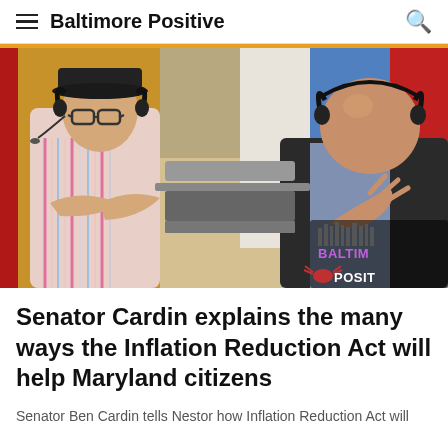Baltimore Positive
[Figure (photo): Two men wearing headphones/headsets in what appears to be a radio broadcast setup. The man on the left wears a cap, glasses, and a striped shirt with arms crossed. The man on the right wears a dark suit jacket and is gesturing with his right hand. A Baltimore Positive logo is visible in the bottom right corner. Colorful curtains (red, white, blue) are in the background.]
Senator Cardin explains the many ways the Inflation Reduction Act will help Maryland citizens
Senator Ben Cardin tells Nestor how Inflation Reduction Act will